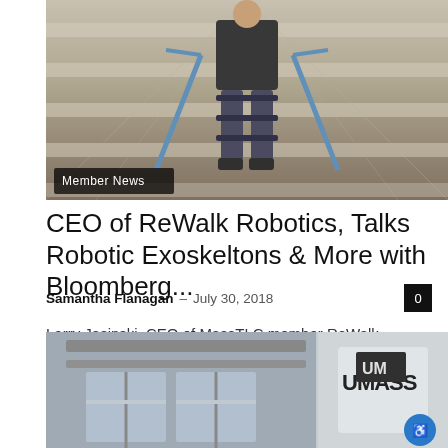[Figure (photo): Person wearing a robotic exoskeleton walking with forearm crutches, viewed from behind/front, on a striped floor surface. 'Member News' badge overlay in bottom left.]
CEO of ReWalk Robotics, Talks Robotic Exoskeltons & More with Bloomberg...
Samantha Flanagan – July 30, 2018
Larry Jasinski, CEO of MassTLC member ReWalk Robotics, recently appeared on Bloomberg Markets AM with Pimm Fox and Lisa Abramowicz to discuss bringing his...
[Figure (photo): Interior of a modern building lobby or entrance with glass doors and a UMass sign/logo visible on the right side.]